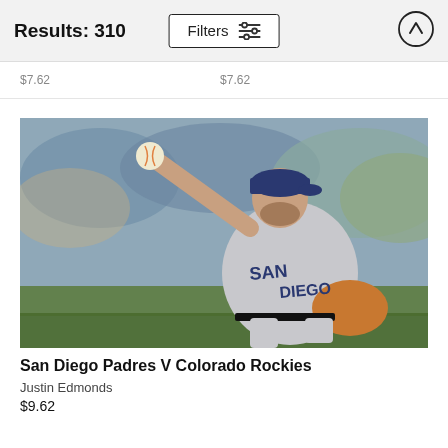Results: 310
$7.62   $7.62
[Figure (photo): San Diego Padres pitcher in gray uniform throwing a pitch with a baseball visible above his hand, crowd in background]
San Diego Padres V Colorado Rockies
Justin Edmonds
$9.62